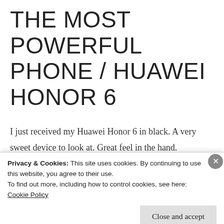THE MOST POWERFUL PHONE / HUAWEI HONOR 6
I just received my Huawei Honor 6 in black. A very sweet device to look at. Great feel in the hand.
I am just running it through it's paces but wanted to give you a quick view already on the performance. It's beating any other phone out there in AnTuTu with a score of 37540.
Privacy & Cookies: This site uses cookies. By continuing to use this website, you agree to their use.
To find out more, including how to control cookies, see here: Cookie Policy